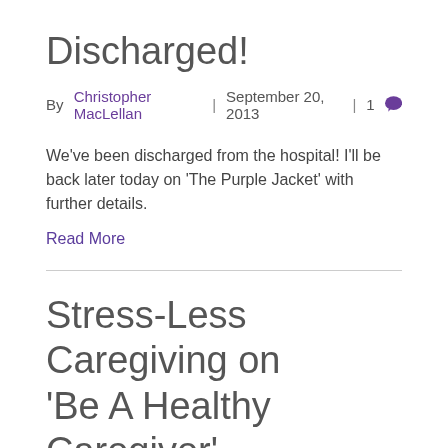Discharged!
By Christopher MacLellan | September 20, 2013 | 1
We've been discharged from the hospital! I'll be back later today on 'The Purple Jacket' with further details.
Read More
Stress-Less Caregiving on 'Be A Healthy Caregiver'
By Christopher MacLellan | July 14, 2013 | 1
On Tuesday July 16th at 1:00 pm (est) I am pleased to